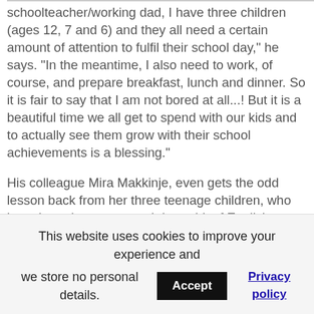schoolteacher/working dad, I have three children (ages 12, 7 and 6) and they all need a certain amount of attention to fulfil their school day," he says. "In the meantime, I also need to work, of course, and prepare breakfast, lunch and dinner. So it is fair to say that I am not bored at all...! But it is a beautiful time we all get to spend with our kids and to actually see them grow with their school achievements is a blessing."
His colleague Mira Makkinje, even gets the odd lesson back from her three teenage children, who have been known to teach her a bit of English grammar after hearing her on the phone with
This website uses cookies to improve your experience and we store no personal details.